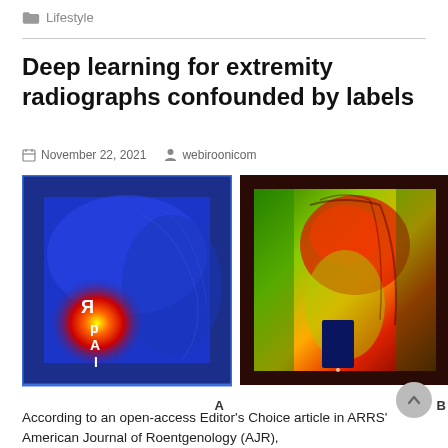Lifestyle
Deep learning for extremity radiographs confounded by labels
November 22, 2021   webiroonicom
[Figure (photo): Two side-by-side heat map visualizations of extremity radiographs. Left image (A) shows a blue background with a red/yellow heat concentration spot on left side, with reflected letters 'R p A I' visible in white. Right image (B) shows a dark red/brown border with a colorful heat map (green, yellow, red) of a hand/wrist radiograph with a dark rectangle near bottom center. Labels 'A' and 'B' appear below respective images.]
According to an open-access Editor's Choice article in ARRS' American Journal of Roentgenology (AJR),